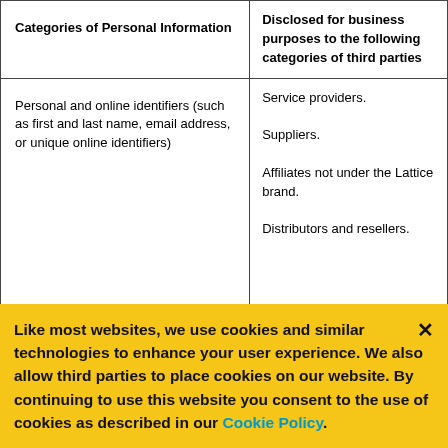| Categories of Personal Information | Disclosed for business purposes to the following categories of third parties |
| --- | --- |
| Personal and online identifiers (such as first and last name, email address, or unique online identifiers) | Service providers.
Suppliers.
Affiliates not under the Lattice brand.
Distributors and resellers. |
|  | Service providers. |
Like most websites, we use cookies and similar technologies to enhance your user experience. We also allow third parties to place cookies on our website. By continuing to use this website you consent to the use of cookies as described in our Cookie Policy.